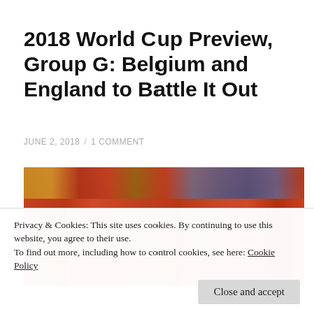2018 World Cup Preview, Group G: Belgium and England to Battle It Out
JUNE 2, 2018 / 1 COMMENT
[Figure (photo): Belgium national football team players in red jerseys celebrating or applauding, with a crowd of supporters in red in the background]
Privacy & Cookies: This site uses cookies. By continuing to use this website, you agree to their use.
To find out more, including how to control cookies, see here: Cookie Policy